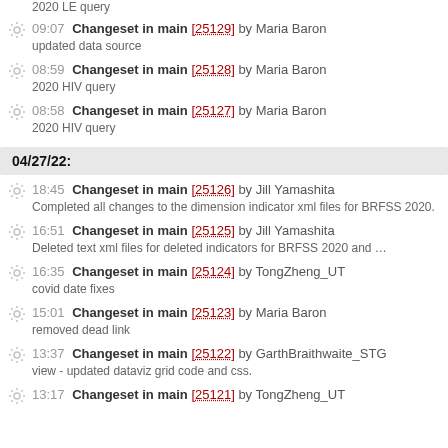2020 LE query
09:07 Changeset in main [25129] by Maria Baron — updated data source
08:59 Changeset in main [25128] by Maria Baron — 2020 HIV query
08:58 Changeset in main [25127] by Maria Baron — 2020 HIV query
04/27/22:
18:45 Changeset in main [25126] by Jill Yamashita — Completed all changes to the dimension indicator xml files for BRFSS 2020.
16:51 Changeset in main [25125] by Jill Yamashita — Deleted text xml files for deleted indicators for BRFSS 2020 and …
16:35 Changeset in main [25124] by TongZheng_UT — covid date fixes
15:01 Changeset in main [25123] by Maria Baron — removed dead link
13:37 Changeset in main [25122] by GarthBraithwaite_STG — view - updated dataviz grid code and css.
13:17 Changeset in main [25121] by TongZheng_UT